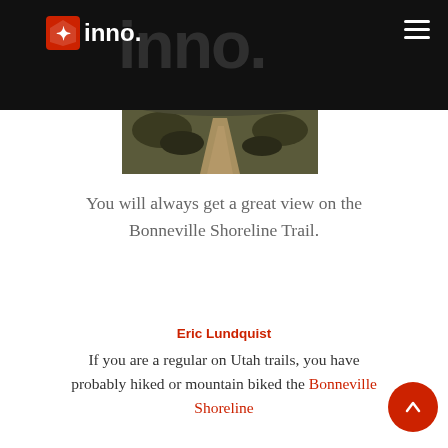inno. [logo with navigation]
[Figure (photo): A dirt trail winding through dry brush and sparse vegetation, viewed from above, likely the Bonneville Shoreline Trail in Utah. Overcast sky visible in background.]
You will always get a great view on the Bonneville Shoreline Trail.
Eric Lundquist
If you are a regular on Utah trails, you have probably hiked or mountain biked the Bonneville Shoreline